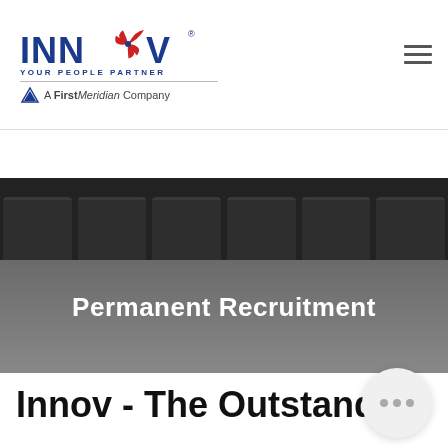[Figure (logo): INNOV logo with pinwheel icon, tagline 'YOUR PEOPLE PARTNER', and 'A First Meridian Company' subtitle]
[Figure (photo): Dark conference room photo with chairs in a row, overlaid with gray gradient]
Permanent Recruitment
Innov - The Outstand…